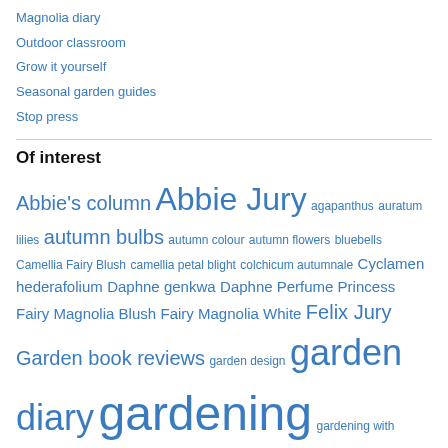Magnolia diary
Outdoor classroom
Grow it yourself
Seasonal garden guides
Stop press
Of interest
Abbie's column Abbie Jury agapanthus auratum lilies autumn bulbs autumn colour autumn flowers bluebells Camellia Fairy Blush camellia petal blight colchicum autumnale Cyclamen hederafolium Daphne genkwa Daphne Perfume Princess Fairy Magnolia Blush Fairy Magnolia White Felix Jury Garden book reviews garden design garden diary gardening gardening with grasses garden maintenance garden quotes garden tasks Higo iris in the garden this week Jury magnolias hereny Magnolia Black Tulip Magnolia